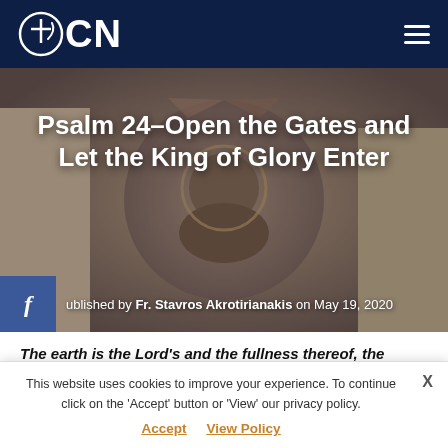OCN
[Figure (photo): Hero image showing religious icon of Christ in a circular mosaic overlaid with photos of smiling young people and adults, dark blue overlay tint.]
Psalm 24–Open the Gates and Let the King of Glory Enter
Published by Fr. Stavros Akrotirianakis on May 19, 2020
The earth is the Lord's and the fullness thereof, the world and those who dwell therein for it is he who founded it
This website uses cookies to improve your experience. To continue click on the 'Accept' button or 'View' our privacy policy.